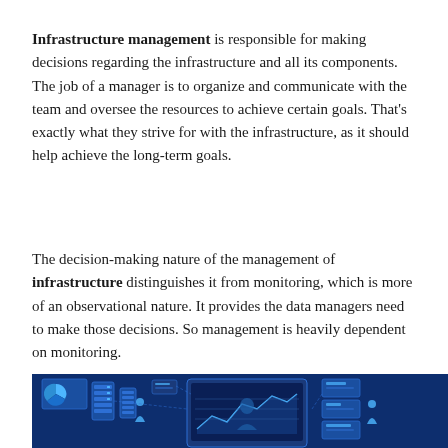Infrastructure management is responsible for making decisions regarding the infrastructure and all its components. The job of a manager is to organize and communicate with the team and oversee the resources to achieve certain goals. That's exactly what they strive for with the infrastructure, as it should help achieve the long-term goals.
The decision-making nature of the management of infrastructure distinguishes it from monitoring, which is more of an observational nature. It provides the data managers need to make those decisions. So management is heavily dependent on monitoring.
[Figure (illustration): Dark navy blue background with an isometric illustration showing a data/infrastructure management scene: server racks, a large laptop/monitor displaying analytics with a human figure silhouette, various UI dashboard elements, charts, and small human figures interacting with technology components.]